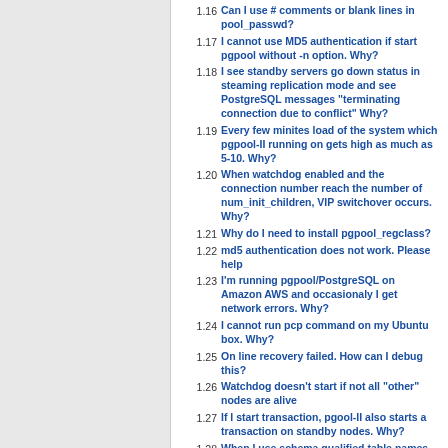1.16 Can I use # comments or blank lines in pool_passwd?
1.17 I cannot use MD5 authentication if start pgpool without -n option. Why?
1.18 I see standby servers go down status in steaming replication mode and see PostgreSQL messages "terminating connection due to conflict" Why?
1.19 Every few minites load of the system which pgpool-II running on gets high as much as 5-10. Why?
1.20 When watchdog enabled and the connection number reach the number of num_init_children, VIP switchover occurs. Why?
1.21 Why do I need to install pgpool_regclass?
1.22 md5 authentication does not work. Please help
1.23 I'm running pgpool/PostgreSQL on Amazon AWS and occasionaly I get network errors. Why?
1.24 I cannot run pcp command on my Ubuntu box. Why?
1.25 On line recovery failed. How can I debug this?
1.26 Watchdog doesn't start if not all "other" nodes are alive
1.27 If I start transaction, pgool-II also starts a transaction on standby nodes. Why?
1.28 When I use schema qualified table names, pgpool-II does not invalidate on memory query